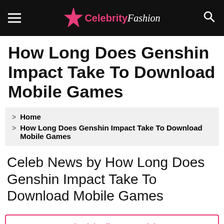Celebrity Fashion
How Long Does Genshin Impact Take To Download Mobile Games
Home
How Long Does Genshin Impact Take To Download Mobile Games
Celeb News by How Long Does Genshin Impact Take To Download Mobile Games
You can probably fix Genshin Impact's super slow download speed ...